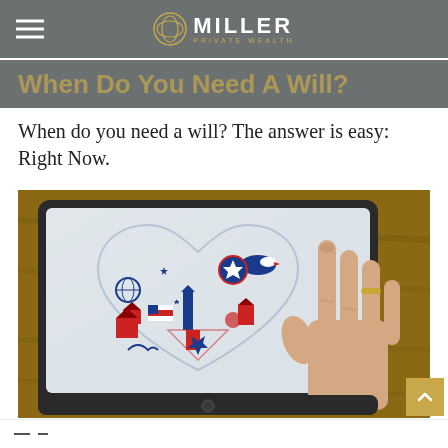MILLER PRIVATE WEALTH
When do you need a will? The answer is easy: Right Now.
[Figure (photo): A hand touching a tablet screen displaying a heart-shaped collage of American patriotic icons including the Statue of Liberty, American flags, bald eagle, and various red, white, and blue symbols. The tablet is resting on a wooden surface.]